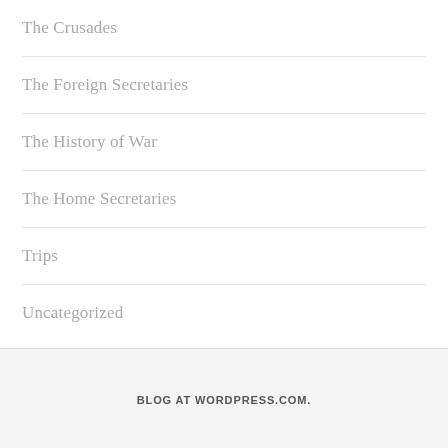The Crusades
The Foreign Secretaries
The History of War
The Home Secretaries
Trips
Uncategorized
BLOG AT WORDPRESS.COM.